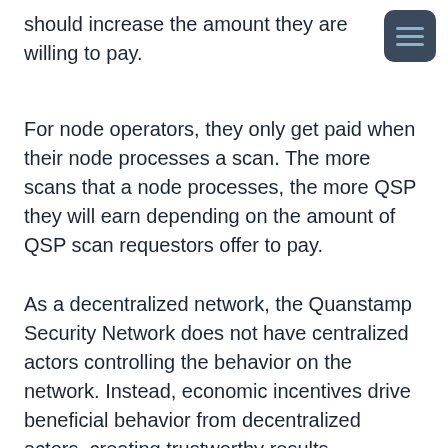should increase the amount they are willing to pay.
For node operators, they only get paid when their node processes a scan. The more scans that a node processes, the more QSP they will earn depending on the amount of QSP scan requestors offer to pay.
As a decentralized network, the Quanstamp Security Network does not have centralized actors controlling the behavior on the network. Instead, economic incentives drive beneficial behavior from decentralized actors, creating trustworthy results.